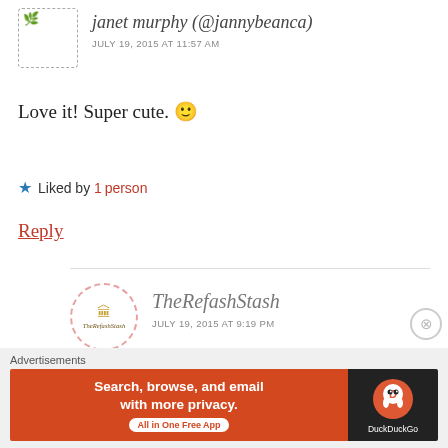janet murphy (@jannybeanca)
JULY 19, 2015 AT 11:57 AM
Love it! Super cute. 🙂
★ Liked by 1 person
Reply
[Figure (logo): TheRefashStash circular dashed logo]
TheRefashStash
JULY 19, 2015 AT 9:19 PM
Thank you!!
Advertisements
[Figure (screenshot): DuckDuckGo advertisement banner: Search, browse, and email with more privacy. All in One Free App.]